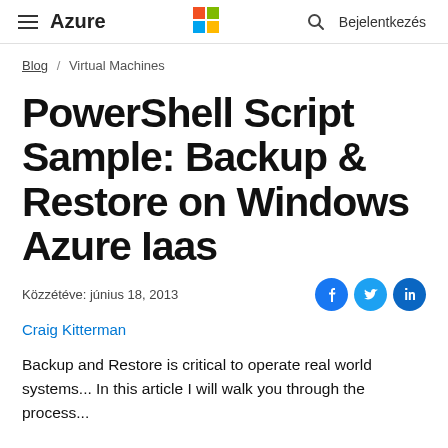≡  Azure   [Microsoft Logo]   🔍   Bejelentkezés
Blog / Virtual Machines
PowerShell Script Sample: Backup & Restore on Windows Azure Iaas
Közzétéve: június 18, 2013
Craig Kitterman
Backup and Restore is critical to operate real world systems... In this article I will walk you through the process...